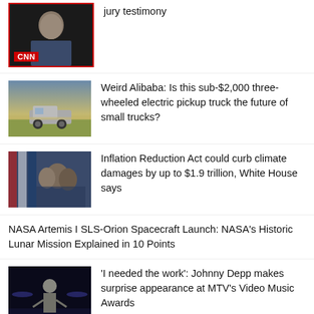jury testimony
Weird Alibaba: Is this sub-$2,000 three-wheeled electric pickup truck the future of small trucks?
Inflation Reduction Act could curb climate damages by up to $1.9 trillion, White House says
NASA Artemis I SLS-Orion Spacecraft Launch: NASA's Historic Lunar Mission Explained in 10 Points
'I needed the work': Johnny Depp makes surprise appearance at MTV's Video Music Awards
Chinese tech giants had their worst quarterly